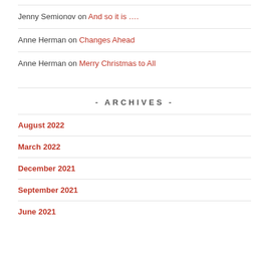Jenny Semionov on And so it is ….
Anne Herman on Changes Ahead
Anne Herman on Merry Christmas to All
- ARCHIVES -
August 2022
March 2022
December 2021
September 2021
June 2021